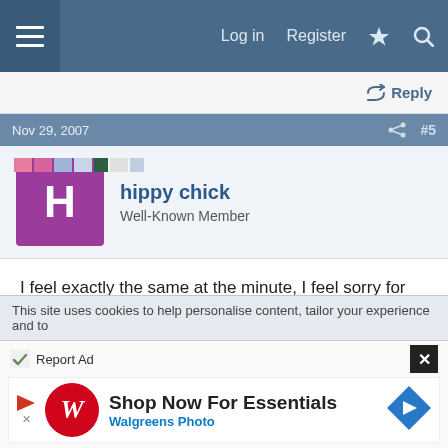Log in  Register
Reply
Nov 29, 2007  #5
hippy chick
Well-Known Member
I feel exactly the same at the minute, I feel sorry for my clients!!!!
Last Saturday, I went to bed at 10pm cus the day was lasting to long!!!!!

We need some autumn sunshine with frosty mornings, they always make me feel better!!!
This site uses cookies to help personalise content, tailor your experience and to
Report Ad
Shop Now For Essentials
Walgreens Photo